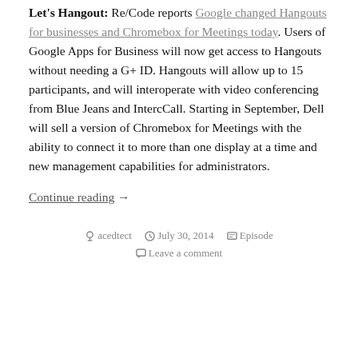Let's Hangout: Re/Code reports Google changed Hangouts for businesses and Chromebox for Meetings today. Users of Google Apps for Business will now get access to Hangouts without needing a G+ ID. Hangouts will allow up to 15 participants, and will interoperate with video conferencing from Blue Jeans and IntercCall. Starting in September, Dell will sell a version of Chromebox for Meetings with the ability to connect it to more than one display at a time and new management capabilities for administrators.
Continue reading →
acedtect    July 30, 2014    Episode    Leave a comment